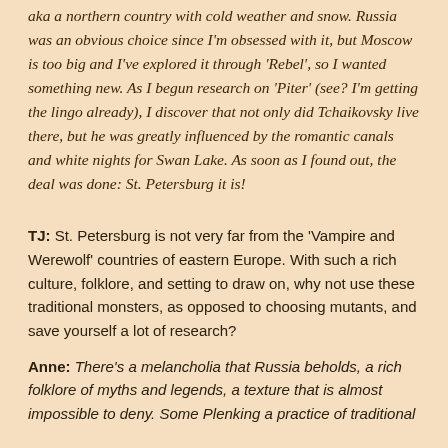aka a northern country with cold weather and snow. Russia was an obvious choice since I'm obsessed with it, but Moscow is too big and I've explored it through 'Rebel', so I wanted something new. As I begun research on 'Piter' (see? I'm getting the lingo already), I discover that not only did Tchaikovsky live there, but he was greatly influenced by the romantic canals and white nights for Swan Lake. As soon as I found out, the deal was done: St. Petersburg it is!
TJ: St. Petersburg is not very far from the 'Vampire and Werewolf' countries of eastern Europe. With such a rich culture, folklore, and setting to draw on, why not use these traditional monsters, as opposed to choosing mutants, and save yourself a lot of research?
Anne: There's a melancholia that Russia beholds, a rich folklore of myths and legends, a texture that is almost impossible to deny...